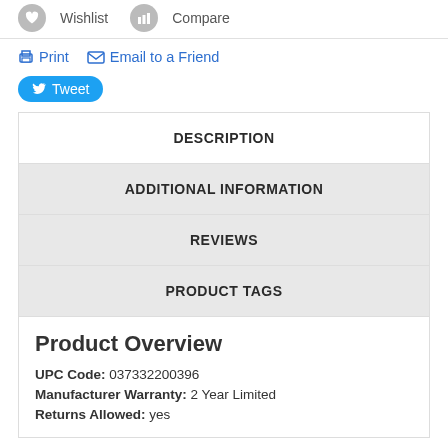Wishlist  Compare
Print  Email to a Friend
Tweet
DESCRIPTION
ADDITIONAL INFORMATION
REVIEWS
PRODUCT TAGS
Product Overview
UPC Code: 037332200396
Manufacturer Warranty: 2 Year Limited
Returns Allowed: yes